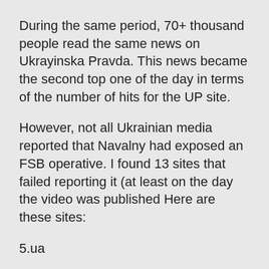During the same period, 70+ thousand people read the same news on Ukrayinska Pravda. This news became the second top one of the day in terms of the number of hits for the UP site.
However, not all Ukrainian media reported that Navalny had exposed an FSB operative. I found 13 sites that failed reporting it (at least on the day the video was published Here are these sites:
5.ua
Prm.ua
112.ua
Zik.ua.
Newsone.ua